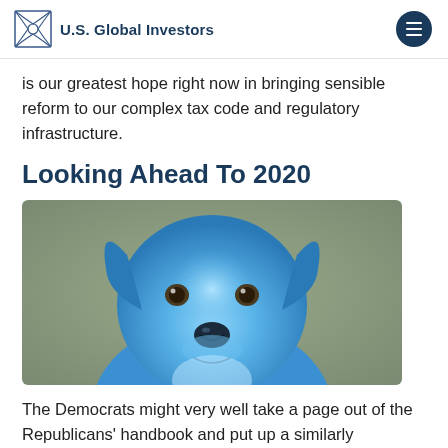U.S. Global Investors
is our greatest hope right now in bringing sensible reform to our complex tax code and regulatory infrastructure.
Looking Ahead To 2020
[Figure (photo): A blue-tinted photo of a Labrador-type dog facing the camera against a blurred background]
The Democrats might very well take a page out of the Republicans' handbook and put up a similarly